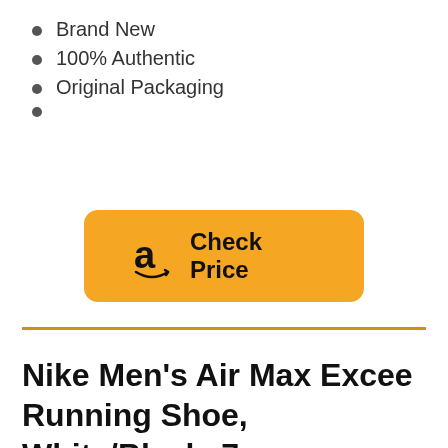Brand New
100% Authentic
Original Packaging
[Figure (other): Amazon yellow button with Amazon logo 'a' and text 'Check Price']
Nike Men’s Air Max Excee Running Shoe, White/Black, 7